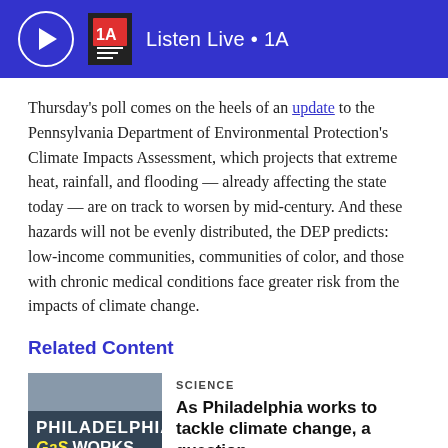Listen Live • 1A
Thursday's poll comes on the heels of an update to the Pennsylvania Department of Environmental Protection's Climate Impacts Assessment, which projects that extreme heat, rainfall, and flooding — already affecting the state today — are on track to worsen by mid-century. And these hazards will not be evenly distributed, the DEP predicts: low-income communities, communities of color, and those with chronic medical conditions face greater risk from the impacts of climate change.
Related Content
SCIENCE
As Philadelphia works to tackle climate change, a question